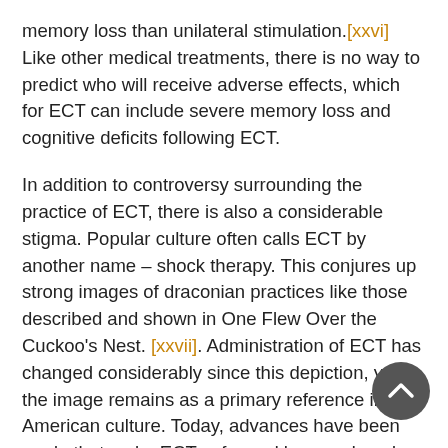memory loss than unilateral stimulation.[xxvi] Like other medical treatments, there is no way to predict who will receive adverse effects, which for ECT can include severe memory loss and cognitive deficits following ECT.
In addition to controversy surrounding the practice of ECT, there is also a considerable stigma. Popular culture often calls ECT by another name – shock therapy. This conjures up strong images of draconian practices like those described and shown in One Flew Over the Cuckoo's Nest. [xxvii]. Administration of ECT has changed considerably since this depiction, yet the image remains as a primary reference in American culture. Today, advances have been made that make ECT safer and have reduced the cognitive side effects. A minority of people who have received ECT have had